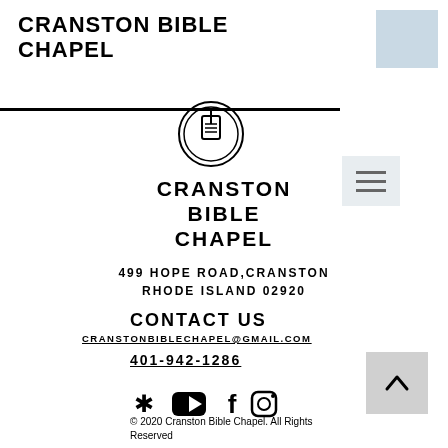CRANSTON BIBLE CHAPEL
[Figure (logo): Church logo icon: circle with cross/Bible symbol inside, double ring border]
[Figure (other): Hamburger menu icon overlay box with three horizontal lines]
CRANSTON BIBLE CHAPEL
499 HOPE ROAD, CRANSTON RHODE ISLAND 02920
CONTACT US
CRANSTONBIBLECHAPEL@GMAIL.COM
401-942-1286
[Figure (other): Social media icons row: Yelp, YouTube, Facebook, Instagram]
© 2020 Cranston Bible Chapel. All Rights Reserved